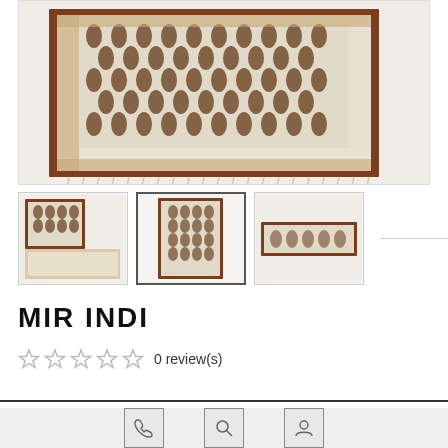[Figure (photo): Main product image of a decorative rug (Mir Indi) showing cream/ivory background with dark brown trellis/ogee pattern and ornate floral border with fringe edges]
[Figure (photo): Thumbnail 1: close-up corner of the rug showing pattern and border detail]
[Figure (photo): Thumbnail 2 (selected): full view of the Mir Indi rug standing upright showing full pattern]
[Figure (photo): Thumbnail 3: close-up of the rug border detail]
MIR INDI
0 review(s)